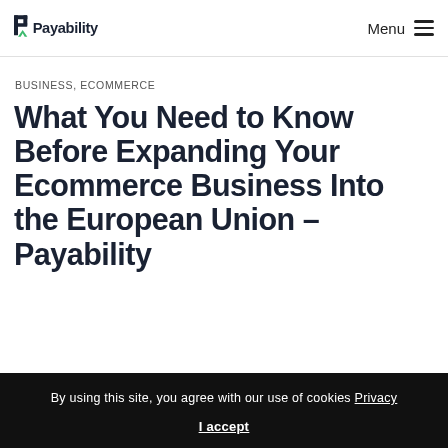Payability  Menu
BUSINESS, ECOMMERCE
What You Need to Know Before Expanding Your Ecommerce Business Into the European Union – Payability
By using this site, you agree with our use of cookies Privacy  I accept